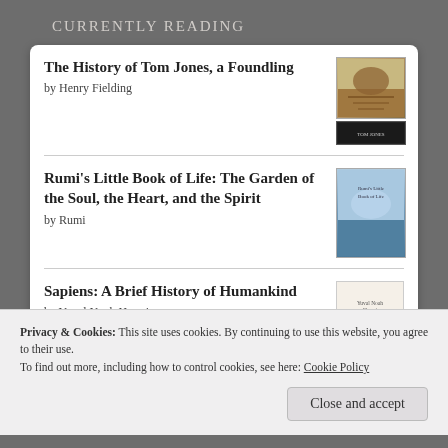Currently Reading
The History of Tom Jones, a Foundling by Henry Fielding
Rumi's Little Book of Life: The Garden of the Soul, the Heart, and the Spirit by Rumi
Sapiens: A Brief History of Humankind by Yuval Noah Harari
Privacy & Cookies: This site uses cookies. By continuing to use this website, you agree to their use.
To find out more, including how to control cookies, see here: Cookie Policy
Close and accept